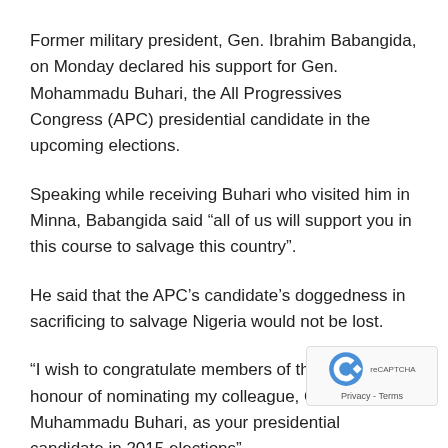Former military president, Gen. Ibrahim Babangida, on Monday declared his support for Gen. Mohammadu Buhari, the All Progressives Congress (APC) presidential candidate in the upcoming elections.
Speaking while receiving Buhari who visited him in Minna, Babangida said “all of us will support you in this course to salvage this country”.
He said that the APC’s candidate’s doggedness in sacrificing to salvage Nigeria would not be lost.
“I wish to congratulate members of the party for the honour of nominating my colleague, Gen. Muhammadu Buhari, as your presidential candidate in 2015 elections”.
He said that the he and Buhari fought the battle to keep Nigeria indivisible, adding that such traits were attributes of patriots.
Earlier, Buhari said that the APC would commence a salvation…